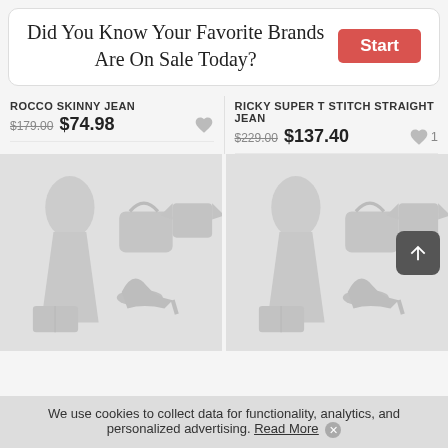Did You Know Your Favorite Brands Are On Sale Today? Start
ROCCO SKINNY JEAN
$179.00  $74.98
RICKY SUPER T STITCH STRAIGHT JEAN
$229.00  $137.40
[Figure (illustration): Fashion product placeholder image with dress, bag, shoe, shirt silhouettes on light grey background (left product)]
[Figure (illustration): Fashion product placeholder image with dress, bag, shoe, shirt silhouettes on light grey background (right product)]
We use cookies to collect data for functionality, analytics, and personalized advertising. Read More